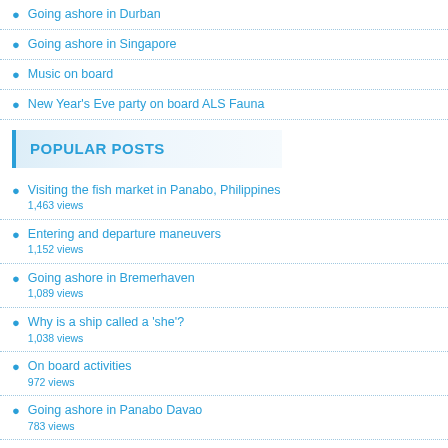Going ashore in Durban
Going ashore in Singapore
Music on board
New Year's Eve party on board ALS Fauna
POPULAR POSTS
Visiting the fish market in Panabo, Philippines
1,463 views
Entering and departure maneuvers
1,152 views
Going ashore in Bremerhaven
1,089 views
Why is a ship called a 'she'?
1,038 views
On board activities
972 views
Going ashore in Panabo Davao
783 views
Entering the port of Ho Chi Minh City
769 views